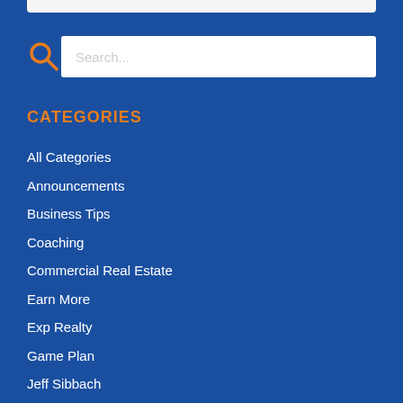[Figure (other): Search bar with orange magnifying glass icon on the left and white text input field with placeholder text 'Search...']
CATEGORIES
All Categories
Announcements
Business Tips
Coaching
Commercial Real Estate
Earn More
Exp Realty
Game Plan
Jeff Sibbach
Listings
Luxury